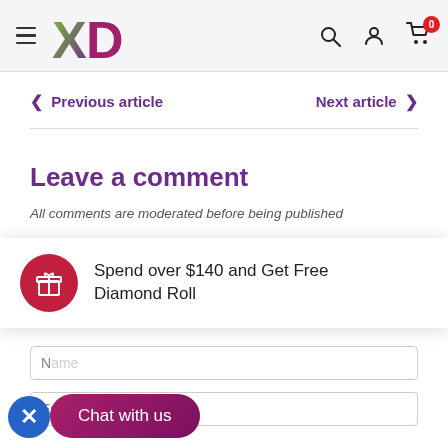[Figure (logo): XD logo with X in green-to-purple gradient and D in purple, hamburger menu icon on left, search, user, and cart icons on right with badge showing 0]
< Previous article
Next article >
Leave a comment
All comments are moderated before being published
Spend over $140 and Get Free Diamond Roll
Name
Email
Chat with us